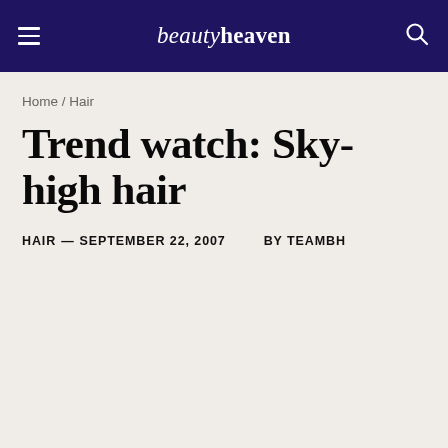beautyheaven
Home / Hair
Trend watch: Sky-high hair
HAIR — SEPTEMBER 22, 2007   BY TEAMBH